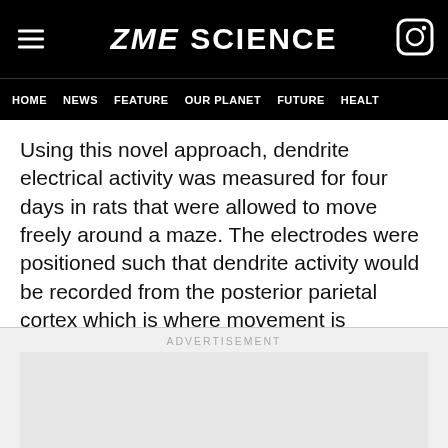ZME SCIENCE
HOME  NEWS  FEATURE  OUR PLANET  FUTURE  HEALT
Using this novel approach, dendrite electrical activity was measured for four days in rats that were allowed to move freely around a maze. The electrodes were positioned such that dendrite activity would be recorded from the posterior parietal cortex which is where movement is coordinated.
ADVERTISEMENT